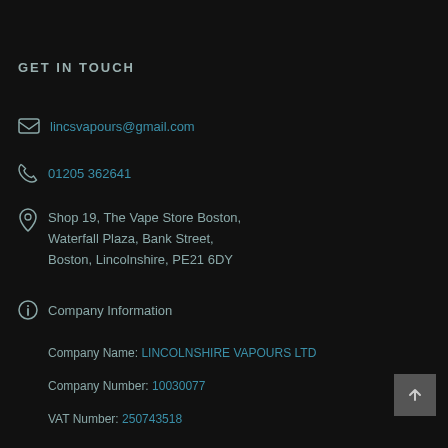GET IN TOUCH
lincsvapours@gmail.com
01205 362641
Shop 19, The Vape Store Boston, Waterfall Plaza, Bank Street, Boston, Lincolnshire, PE21 6DY
Company Information
Company Name: LINCOLNSHIRE VAPOURS LTD
Company Number: 10030077
VAT Number: 250743518